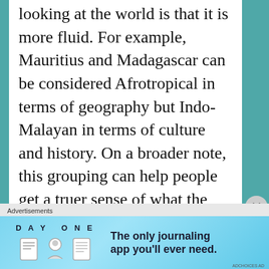looking at the world is that it is more fluid. For example, Mauritius and Madagascar can be considered Afrotropical in terms of geography but Indo-Malayan in terms of culture and history. On a broader note, this grouping can help people get a truer sense of what the world really looks like. The bio-realms are intended to be solely geographical, but without really trying, they pretty well represent most of the
Advertisements
[Figure (screenshot): DAY ONE app advertisement banner. Shows 'DAY ONE' title with three icons and text 'The only journaling app you'll ever need.' on a light blue background.]